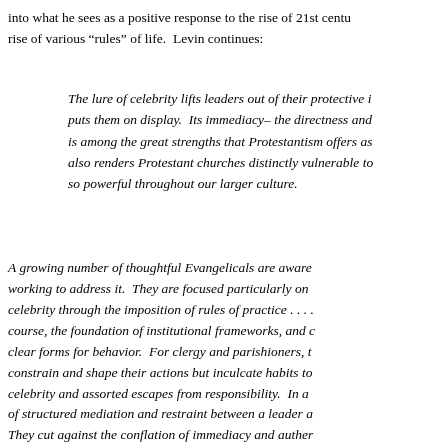into what he sees as a positive response to the rise of 21st centu... rise of various “rules” of life.  Levin continues:
The lure of celebrity lifts leaders out of their protective i... puts them on display.  Its immediacy– the directness and... is among the great strengths that Protestantism offers as... also renders Protestant churches distinctly vulnerable to... so powerful throughout our larger culture.
A growing number of thoughtful Evangelicals are aware... working to address it.  They are focused particularly on... celebrity through the imposition of rules of practice . . . . course, the foundation of institutional frameworks, and c... clear forms for behavior.  For clergy and parishioners, t... constrain and shape their actions but inculcate habits to... celebrity and assorted escapes from responsibility.  In a... of structured mediation and restraint between a leader a... They cut against the conflation of immediacy and auther... recognize how vulnerable such immediacy can render a...